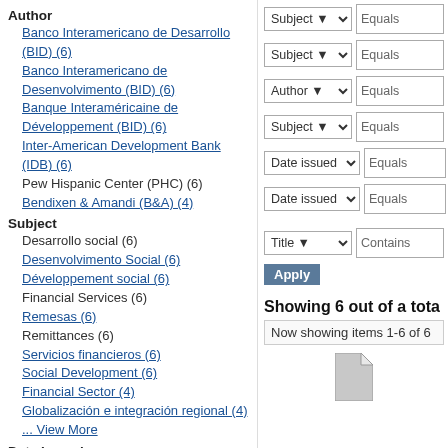Author
Banco Interamericano de Desarrollo (BID) (6)
Banco Interamericano de Desenvolvimento (BID) (6)
Banque Interaméricaine de Développement (BID) (6)
Inter-American Development Bank (IDB) (6)
Pew Hispanic Center (PHC) (6)
Bendixen & Amandi (B&A) (4)
Subject
Desarrollo social (6)
Desenvolvimento Social (6)
Développement social (6)
Financial Services (6)
Remesas (6)
Remittances (6)
Servicios financieros (6)
Social Development (6)
Financial Sector (4)
Globalización e integración regional (4)
... View More
Date Issued
2014 (6)
Has File(s)
No (6)
[Figure (screenshot): Filter form with dropdowns (Subject, Subject, Author, Subject, Date issued, Date issued, Title) each paired with Equals/Contains text fields, an Apply button, showing results text and a document icon.]
Showing 6 out of a tota
Now showing items 1-6 of 6